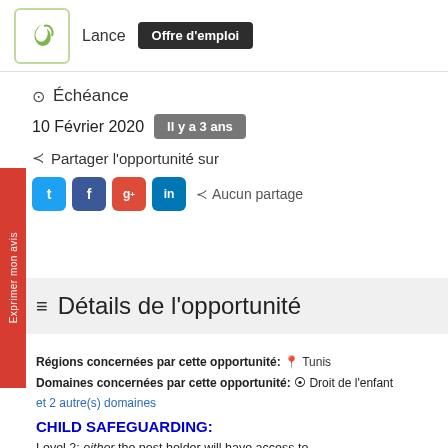[Figure (logo): Green leaf/bird logo in rounded square border]
Lance
Offre d'emploi
Échéance
10 Février 2020  Il y a 3 ans
Partager l'opportunité sur
Aucun partage
Détails de l'opportunité
Régions concernées par cette opportunité:  Tunis
Domaines concernées par cette opportunité:  Droit de l'enfant
et 2 autre(s) domaines
CHILD SAFEGUARDING:
Level 2: either the post holder will have access to